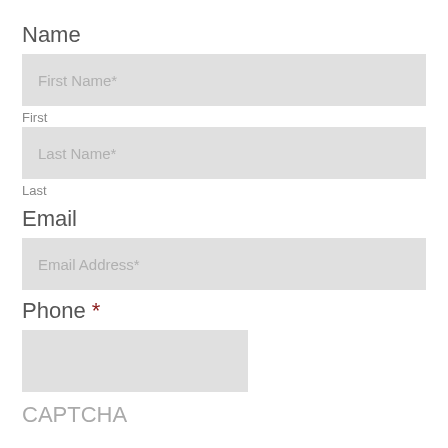Name
First Name*
First
Last Name*
Last
Email
Email Address*
Phone *
CAPTCHA